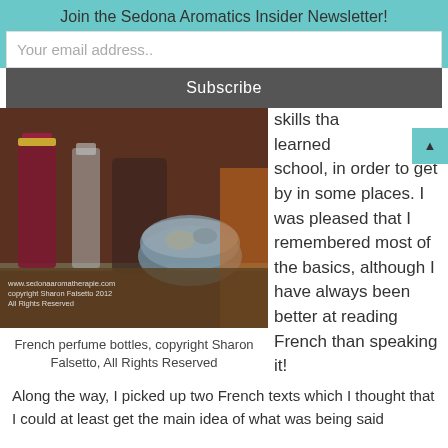Join the Sedona Aromatics Insider Newsletter!
Your email address..
Subscribe
[Figure (photo): Photo of French perfume bottles on a glass shelf, warm amber tones, with copyright watermark: www.sedonaaromatherapie.com copyright Sharon Falsetto 2012 All Rights Reserved]
French perfume bottles, copyright Sharon Falsetto, All Rights Reserved
skills that learned school, in order to get by in some places. I was pleased that I remembered most of the basics, although I have always been better at reading French than speaking it!
Along the way, I picked up two French texts which I thought that I could at least get the main idea of what was being said